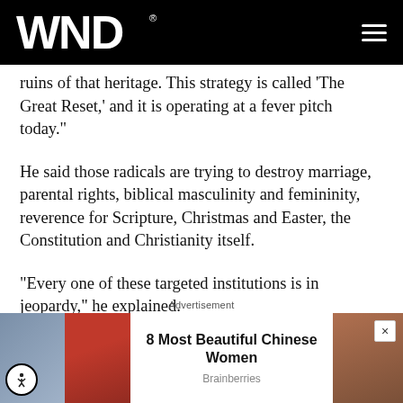WND
ruins of that heritage. This strategy is called 'The Great Reset,' and it is operating at a fever pitch today."
He said those radicals are trying to destroy marriage, parental rights, biblical masculinity and femininity, reverence for Scripture, Christmas and Easter, the Constitution and Christianity itself.
"Every one of these targeted institutions is in jeopardy," he explained.
[Figure (infographic): Advertisement banner showing '8 Most Beautiful Chinese Women' from Brainberries, with two female photos on the left and one on the right.]